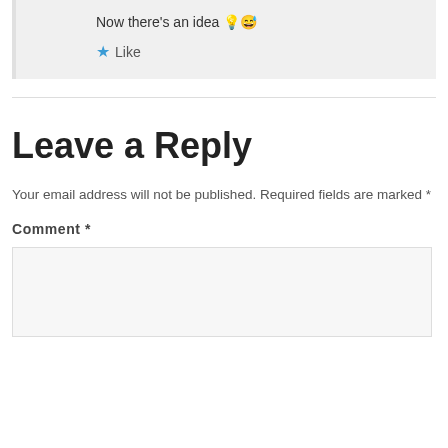Now there's an idea 💡😅
★ Like
Leave a Reply
Your email address will not be published. Required fields are marked *
Comment *